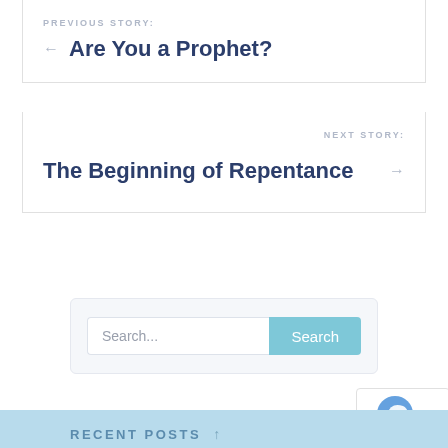PREVIOUS STORY:
← Are You a Prophet?
NEXT STORY:
The Beginning of Repentance →
Search...
RECENT POSTS